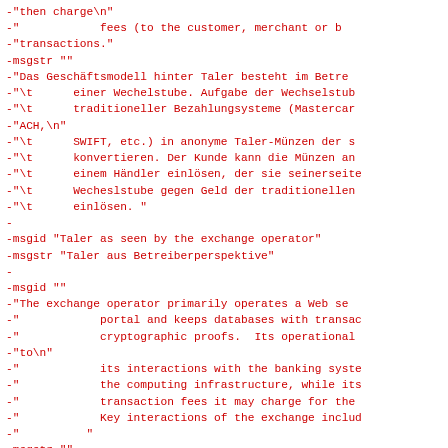-"then charge\n"
-"            fees (to the customer, merchant or b
-"transactions."
-msgstr ""
-"Das Geschäftsmodell hinter Taler besteht im Betre
-"\t      einer Wechelstube. Aufgabe der Wechselstub
-"\t      traditioneller Bezahlungsysteme (Mastercar
-"ACH,\n"
-"\t      SWIFT, etc.) in anonyme Taler-Münzen der s
-"\t      konvertieren. Der Kunde kann die Münzen an
-"\t      einem Händler einlösen, der sie seinerseite
-"\t      Wecheslstube gegen Geld der traditionellen
-"\t      einlösen. "
-
-msgid "Taler as seen by the exchange operator"
-msgstr "Taler aus Betreiberperspektive"
-
-msgid ""
-"The exchange operator primarily operates a Web se
-"            portal and keeps databases with transac
-"            cryptographic proofs.  Its operational
-"to\n"
-"            its interactions with the banking syste
-"            the computing infrastructure, while its
-"            transaction fees it may charge for the
-"            Key interactions of the exchange includ
-"          "
-msgstr ""
-"Der Betreiber einer Wechselstube\n"
-"            betreibt primär eine Webseite sowie Dat